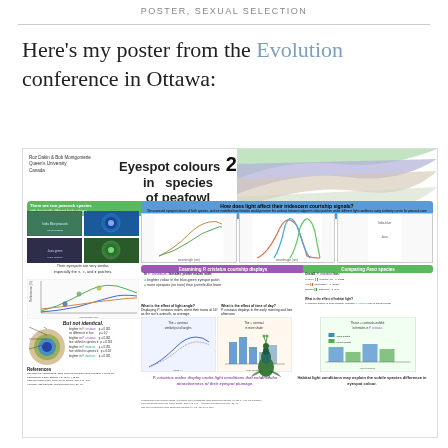POSTER, SEXUAL SELECTION
Here's my poster from the Evolution conference in Ottawa:
[Figure (infographic): A scientific poster titled 'Eyespot colours in 2 species of peafowl' by Roz Dakin & Bob Montgomerie, Queen's University Canada. The poster contains multiple panels showing peacock images, spectral reflectance charts, courtship display analyses, and habitat light comparisons between two peafowl species (P. cristatus and P. muticus).]